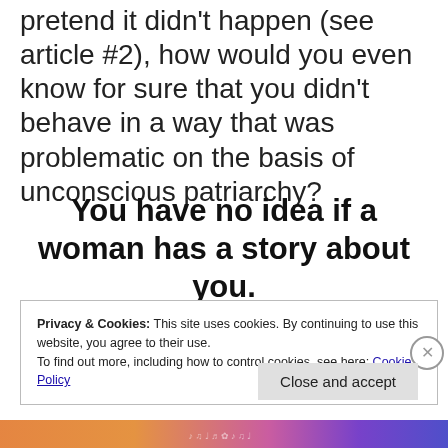pretend it didn't happen (see article #2), how would you even know for sure that you didn't behave in a way that was problematic on the basis of unconscious patriarchy?
You have no idea if a woman has a story about you.
Privacy & Cookies: This site uses cookies. By continuing to use this website, you agree to their use.
To find out more, including how to control cookies, see here: Cookie Policy
Close and accept